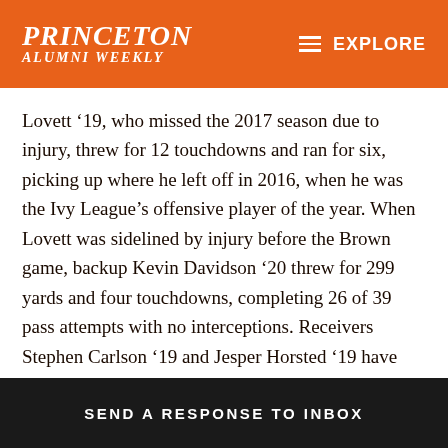PRINCETON ALUMNI WEEKLY | EXPLORE
Lovett ’19, who missed the 2017 season due to injury, threw for 12 touchdowns and ran for six, picking up where he left off in 2016, when he was the Ivy League’s offensive player of the year. When Lovett was sidelined by injury before the Brown game, backup Kevin Davidson ’20 threw for 299 yards and four touchdowns, completing 26 of 39 pass attempts with no interceptions. Receivers Stephen Carlson ’19 and Jesper Horsted ’19 have combined for more than 1,000 receiving yards. Lovett and running backs Charlie Volker ’19 and Colin Eaddy ’21 each had 100-yard rushing games.
SEND A RESPONSE TO INBOX